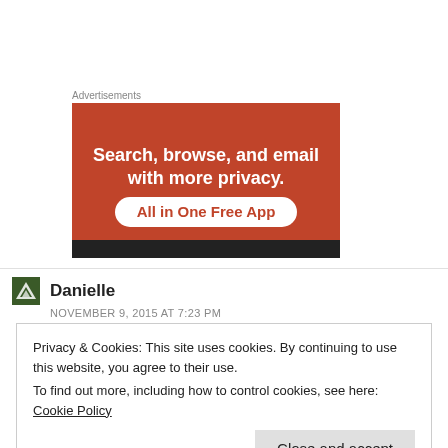Advertisements
[Figure (other): Advertisement banner: orange background with white bold text 'Search, browse, and email with more privacy.' and 'All in One Free App' CTA button in white pill shape with orange text. Dark bar at bottom.]
Danielle
NOVEMBER 9, 2015 AT 7:23 PM
Privacy & Cookies: This site uses cookies. By continuing to use this website, you agree to their use.
To find out more, including how to control cookies, see here: Cookie Policy
Close and accept
I really never felt a nudge from God as I played fallout 3 so I